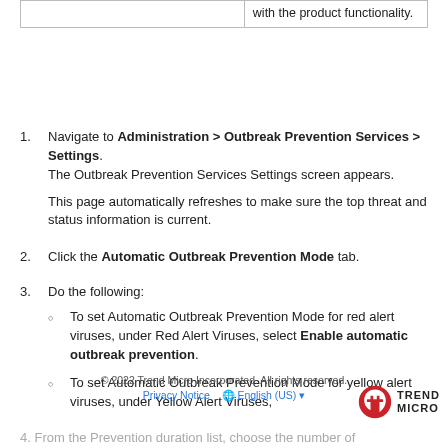|  |  |
| --- | --- |
|  | with the product functionality. |
Navigate to Administration > Outbreak Prevention Services > Settings. The Outbreak Prevention Services Settings screen appears.
This page automatically refreshes to make sure the top threat and status information is current.
Click the Automatic Outbreak Prevention Mode tab.
Do the following:
To set Automatic Outbreak Prevention Mode for red alert viruses, under Red Alert Viruses, select Enable automatic outbreak prevention.
To set Automatic Outbreak Prevention Mode for yellow alert viruses, under Yellow Alert Viruses,
© 2022 Trend Micro Incorporated. All rights reserved.
Privacy Notice   🌐 English (US) ▾
4. From the Prevention duration list, choose the number of